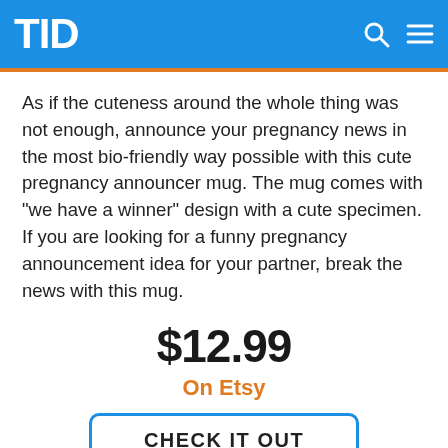TID
As if the cuteness around the whole thing was not enough, announce your pregnancy news in the most bio-friendly way possible with this cute pregnancy announcer mug. The mug comes with "we have a winner" design with a cute specimen. If you are looking for a funny pregnancy announcement idea for your partner, break the news with this mug.
$12.99
On Etsy
CHECK IT OUT